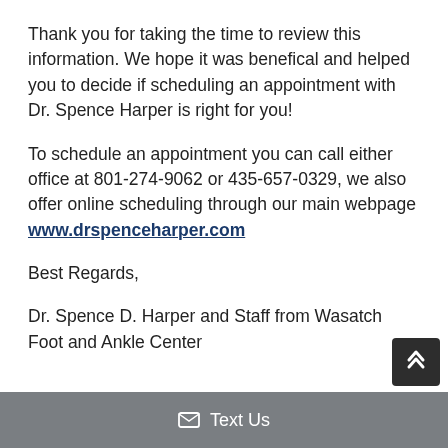Thank you for taking the time to review this information. We hope it was benefical and helped you to decide if scheduling an appointment with Dr. Spence Harper is right for you!
To schedule an appointment you can call either office at 801-274-9062 or 435-657-0329, we also offer online scheduling through our main webpage www.drspenceharper.com
Best Regards,
Dr. Spence D. Harper and Staff from Wasatch Foot and Ankle Center
✉ Text Us